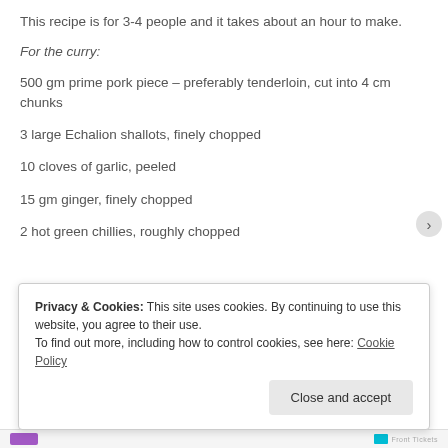This recipe is for 3-4 people and it takes about an hour to make.
For the curry:
500 gm prime pork piece – preferably tenderloin, cut into 4 cm chunks
3 large Echalion shallots, finely chopped
10 cloves of garlic, peeled
15 gm ginger, finely chopped
2 hot green chillies, roughly chopped
Privacy & Cookies: This site uses cookies. By continuing to use this website, you agree to their use. To find out more, including how to control cookies, see here: Cookie Policy